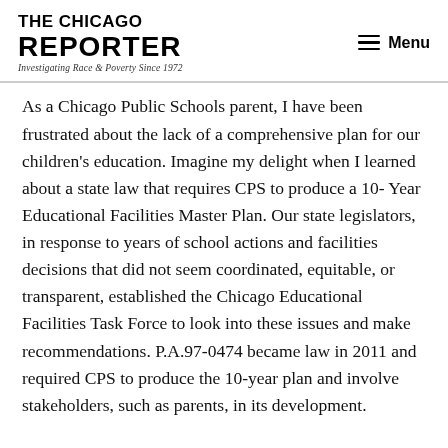THE CHICAGO REPORTER — Investigating Race & Poverty Since 1972 — Menu
As a Chicago Public Schools parent, I have been frustrated about the lack of a comprehensive plan for our children's education. Imagine my delight when I learned about a state law that requires CPS to produce a 10- Year Educational Facilities Master Plan. Our state legislators, in response to years of school actions and facilities decisions that did not seem coordinated, equitable, or transparent, established the Chicago Educational Facilities Task Force to look into these issues and make recommendations. P.A.97-0474 became law in 2011 and required CPS to produce the 10-year plan and involve stakeholders, such as parents, in its development.